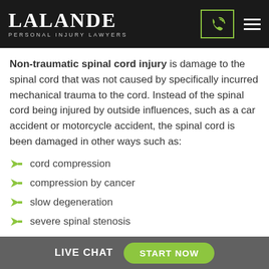LALANDE PERSONAL INJURY LAWYERS
Non-traumatic spinal cord injury is damage to the spinal cord that was not caused by specifically incurred mechanical trauma to the cord. Instead of the spinal cord being injured by outside influences, such as a car accident or motorcycle accident, the spinal cord is been damaged in other ways such as:
cord compression
compression by cancer
slow degeneration
severe spinal stenosis
LIVE CHAT  START NOW